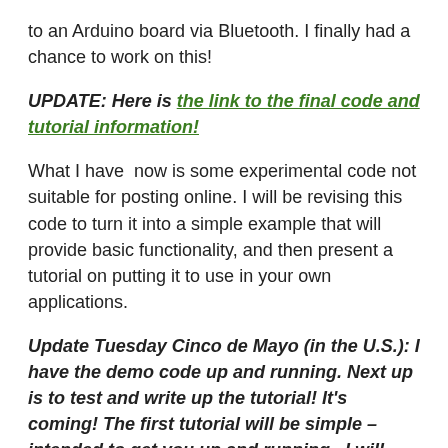to an Arduino board via Bluetooth. I finally had a chance to work on this!
UPDATE: Here is the link to the final code and tutorial information!
What I have now is some experimental code not suitable for posting online. I will be revising this code to turn it into a simple example that will provide basic functionality, and then present a tutorial on putting it to use in your own applications.
Update Tuesday Cinco de Mayo (in the U.S.): I have the demo code up and running. Next up is to test and write up the tutorial! It's coming! The first tutorial will be simple – intended to get you up and running. I will eventually create some more advanced features.
Longer term, I may create a more general solution for passing data packets back and forth between an Android App Inventor